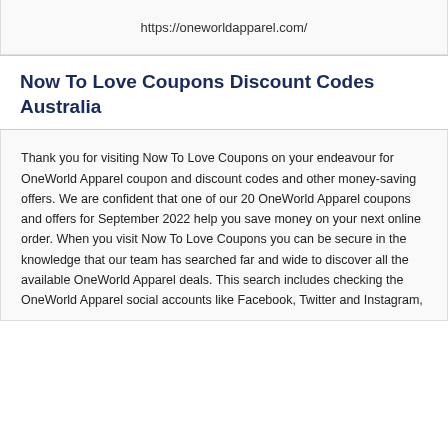https://oneworldapparel.com/
Now To Love Coupons Discount Codes Australia
Thank you for visiting Now To Love Coupons on your endeavour for OneWorld Apparel coupon and discount codes and other money-saving offers. We are confident that one of our 20 OneWorld Apparel coupons and offers for September 2022 help you save money on your next online order. When you visit Now To Love Coupons you can be secure in the knowledge that our team has searched far and wide to discover all the available OneWorld Apparel deals. This search includes checking the OneWorld Apparel social accounts like Facebook, Twitter and Instagram, adding the search from other search engine Coubling...